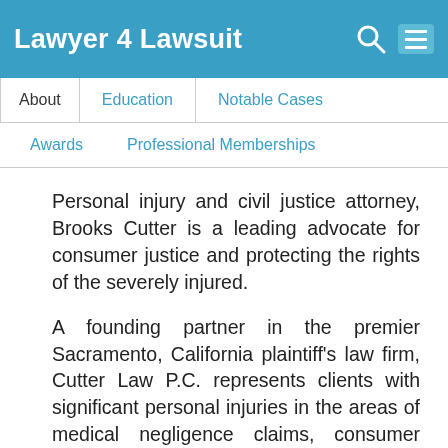Lawyer 4 Lawsuit
About | Education | Notable Cases
Awards | Professional Memberships
Personal injury and civil justice attorney, Brooks Cutter is a leading advocate for consumer justice and protecting the rights of the severely injured.
A founding partner in the premier Sacramento, California plaintiff's law firm, Cutter Law P.C. represents clients with significant personal injuries in the areas of medical negligence claims, consumer class action, dangerous drugs and defective medical devices, insurance bad faith, consumer fraud, auto, trucking and motorcycle accidents, brain and spinal cord